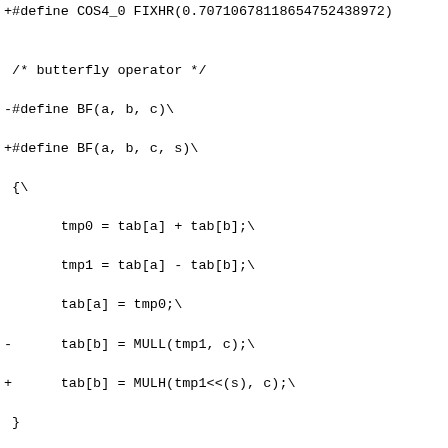+#define COS4_0 FIXHR(0.70710678118654752438972)

 /* butterfly operator */
-#define BF(a, b, c)\
+#define BF(a, b, c, s)\
 {\
       tmp0 = tab[a] + tab[b];\
       tmp1 = tab[a] - tab[b];\
       tab[a] = tmp0;\
-      tab[b] = MULL(tmp1, c);\
+      tab[b] = MULH(tmp1<<(s), c);\
 }

 #define BF1(a, b, c, d)\
 {\
-      BF(a, b, COS4_0);\
-      BF(c, d, -COS4_0);\
+      BF(a, b, COS4_0, 1);\
+      BF(c, d,-COS4_0, 1);\
       tab[c] += tab[d];\
 }

 #define BF2(a, b, c, d)\
 {\
-      BF(a, b, COS4_0);\
-      BF(c, d, -COS4_0);\
+      BF(a, b, COS4_0, 1);\
+      BF(c, d,-COS4_0, 1);\
       tab[c] += tab[d];\
       tab[a] += tab[c];\
       tab[b] += tab[b];\